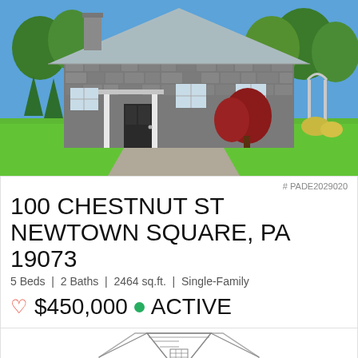[Figure (photo): Exterior photo of a stone single-family house with gray metal roof, white porch columns, green lawn, red decorative tree, and surrounding trees on a sunny day]
# PADE2029020
100 CHESTNUT ST
NEWTOWN SQUARE, PA 19073
5 Beds | 2 Baths | 2464 sq.ft. | Single-Family
♡ $450,000 • ACTIVE
[Figure (illustration): Line drawing illustration of a house with hexagonal/octagonal shape, gabled roof with shingles, and architectural detail]